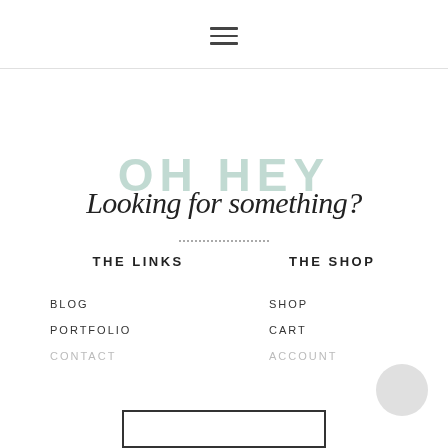[Figure (other): Hamburger menu icon (three horizontal lines)]
OH HEY
Looking for something?
THE LINKS
THE SHOP
BLOG
SHOP
PORTFOLIO
CART
CONTACT
ACCOUNT